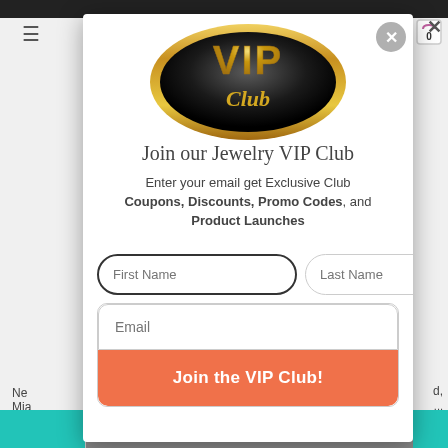[Figure (screenshot): VIP Club membership popup modal on a jewelry website. The modal contains a VIP Club logo (gold oval with black background), a title 'Join our Jewelry VIP Club', descriptive text about entering email for exclusive coupons/discounts/promo codes and product launches, two name input fields (First Name, Last Name), an email input field, and a coral/orange 'Join the VIP Club!' button. Background shows partial website content.]
Join our Jewelry VIP Club
Enter your email get Exclusive Club Coupons, Discounts, Promo Codes, and Product Launches